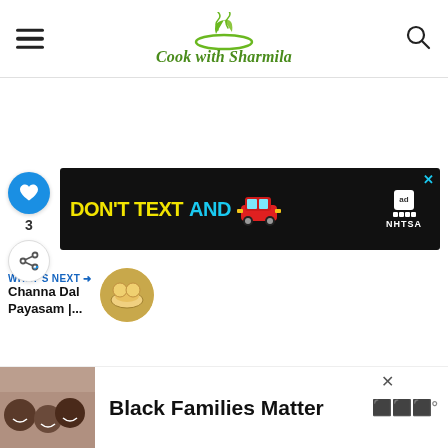Cook with Sharmila
[Figure (other): NHTSA Don't Text and Drive advertisement banner with yellow text, cyan text, red car emoji, and NHTSA logo on black background]
3
WHAT'S NEXT → Channa Dal Payasam |...
[Figure (photo): Black Families Matter advertisement with photo of smiling Black family and text 'Black Families Matter']